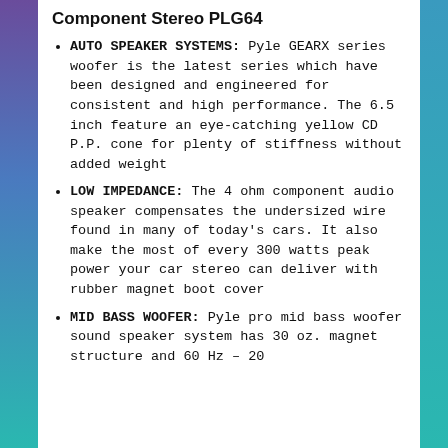Component Stereo PLG64
AUTO SPEAKER SYSTEMS: Pyle GEARX series woofer is the latest series which have been designed and engineered for consistent and high performance. The 6.5 inch feature an eye-catching yellow CD P.P. cone for plenty of stiffness without added weight
LOW IMPEDANCE: The 4 ohm component audio speaker compensates the undersized wire found in many of today's cars. It also make the most of every 300 watts peak power your car stereo can deliver with rubber magnet boot cover
MID BASS WOOFER: Pyle pro mid bass woofer sound speaker system has 30 oz. magnet structure and 60 Hz – 20